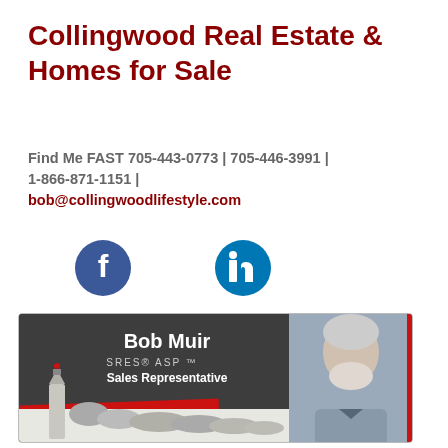Collingwood Real Estate & Homes for Sale
Find Me FAST 705-443-0773 | 705-446-3991 | 1-866-871-1151 | bob@collingwoodlifestyle.com
[Figure (logo): Facebook and LinkedIn social media icons]
[Figure (photo): Business card for Bob Muir, SRES ASP Sales Representative, with lighthouse sketch and portrait photo]